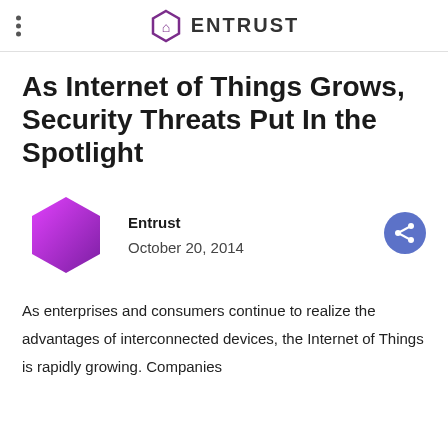ENTRUST
As Internet of Things Grows, Security Threats Put In the Spotlight
Entrust
October 20, 2014
As enterprises and consumers continue to realize the advantages of interconnected devices, the Internet of Things is rapidly growing. Companies